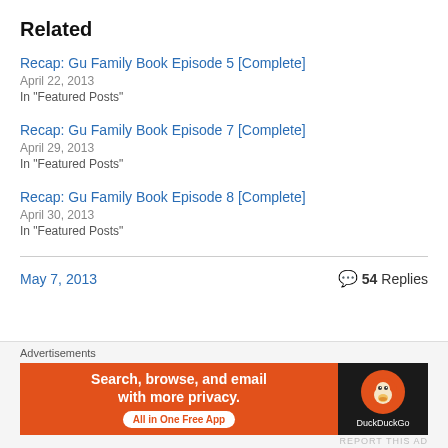Related
Recap: Gu Family Book Episode 5 [Complete]
April 22, 2013
In "Featured Posts"
Recap: Gu Family Book Episode 7 [Complete]
April 29, 2013
In "Featured Posts"
Recap: Gu Family Book Episode 8 [Complete]
April 30, 2013
In "Featured Posts"
May 7, 2013    54 Replies
Advertisements
[Figure (screenshot): DuckDuckGo advertisement banner: orange left side reads 'Search, browse, and email with more privacy. All in One Free App', dark right side shows DuckDuckGo duck logo and text.]